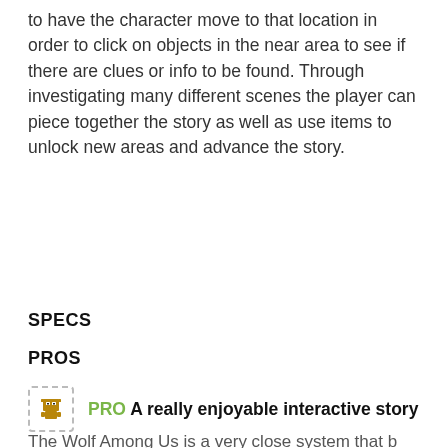to have the character move to that location in order to click on objects in the near area to see if there are clues or info to be found. Through investigating many different scenes the player can piece together the story as well as use items to unlock new areas and advance the story.
SPECS
PROS
PRO A really enjoyable interactive story
The Wolf Among Us is a very close system that b...